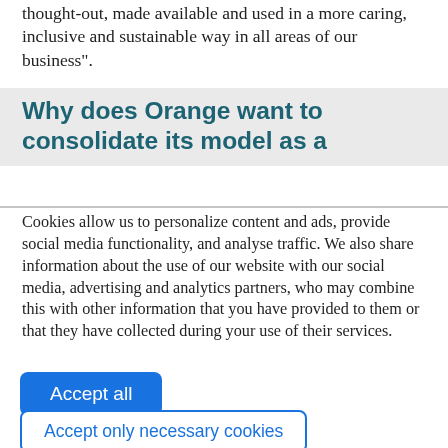thought-out, made available and used in a more caring, inclusive and sustainable way in all areas of our business".
Why does Orange want to consolidate its model as a
Cookies allow us to personalize content and ads, provide social media functionality, and analyse traffic. We also share information about the use of our website with our social media, advertising and analytics partners, who may combine this with other information that you have provided to them or that they have collected during your use of their services.
Accept all
Accept only necessary cookies